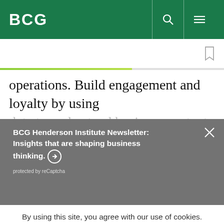BCG
operations. Build engagement and loyalty by using
BCG Henderson Institute Newsletter: Insights that are shaping business thinking. ➜
protected by reCaptcha
By using this site, you agree with our use of cookies.
I consent to cookies
Want to know more?
Read our Cookie Policy